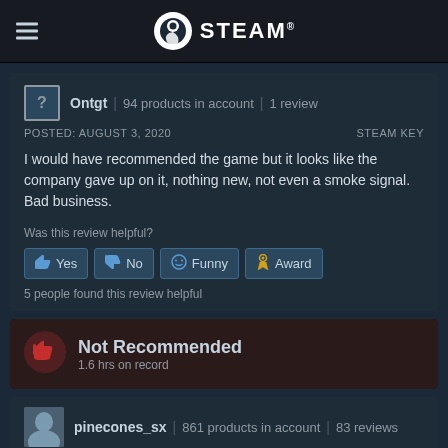STEAM
Ontgt | 94 products in account | 1 review
POSTED: AUGUST 3, 2020   STEAM KEY
I would have recommended the game but it looks like the company gave up on it, nothing new, not even a smoke signal. Bad business.
Was this review helpful?
Yes  No  Funny  Award
5 people found this review helpful
Not Recommended
1.6 hrs on record
pinecones_sx | 861 products in account | 83 reviews